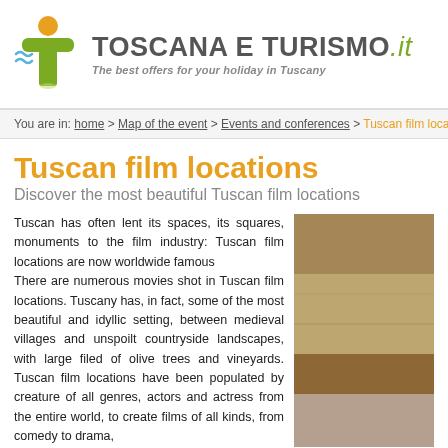[Figure (logo): Toscana e Turismo logo with green T figure, orange circle head, blue waves, and site name text]
You are in: home > Map of the event > Events and conferences > Tuscan film locat
Tuscan film locations
Discover the most beautiful Tuscan film locations
Tuscan has often lent its spaces, its squares, monuments to the film industry: Tuscan film locations are now worldwide famous
There are numerous movies shot in Tuscan film locations. Tuscany has, in fact, some of the most beautiful and idyllic setting, between medieval villages and unspoilt countryside landscapes, with large filed of olive trees and vineyards. Tuscan film locations have been populated by creature of all genres, actors and actress from the entire world, to create films of all kinds, from comedy to drama,
[Figure (photo): Photo of Tuscan landscape, earthy brown tones]